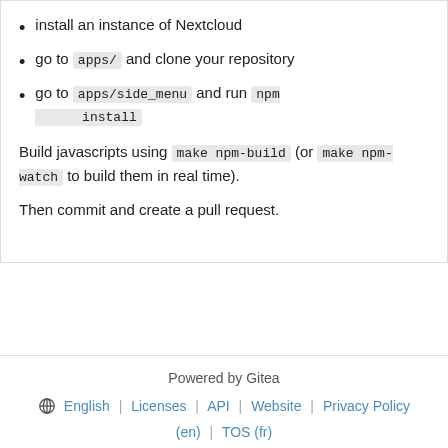install an instance of Nextcloud
go to apps/ and clone your repository
go to apps/side_menu and run npm install
Build javascripts using make npm-build (or make npm-watch to build them in real time).
Then commit and create a pull request.
Powered by Gitea
⊕ English | Licenses | API | Website | Privacy Policy
(en) | TOS (fr)